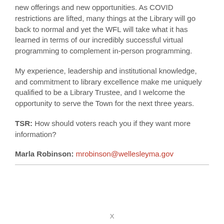new offerings and new opportunities. As COVID restrictions are lifted, many things at the Library will go back to normal and yet the WFL will take what it has learned in terms of our incredibly successful virtual programming to complement in-person programming.
My experience, leadership and institutional knowledge, and commitment to library excellence make me uniquely qualified to be a Library Trustee, and I welcome the opportunity to serve the Town for the next three years.
TSR: How should voters reach you if they want more information?
Marla Robinson: mrobinson@wellesleyma.gov
X